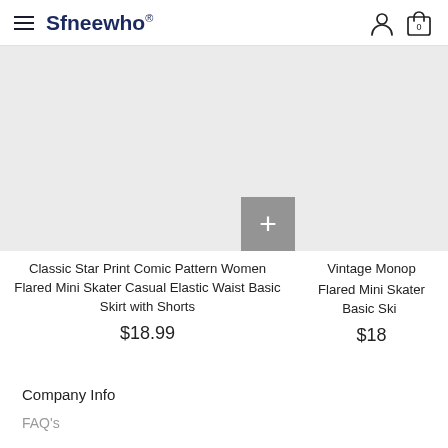Sfneewho®
[Figure (screenshot): Product image placeholder (light gray) for Classic Star Print Comic Pattern Women Flared Mini Skater Casual Elastic Waist Basic Skirt with Shorts, with a gray + add button in the bottom right corner]
Classic Star Print Comic Pattern Women Flared Mini Skater Casual Elastic Waist Basic Skirt with Shorts
$18.99
[Figure (screenshot): Partial product image placeholder (light gray) for Vintage Monop... Flared Mini Skater... Basic Ski... (cropped at right edge)]
Vintage Monop Flared Mini Skater Basic Ski
$18
Company Info
FAQ's